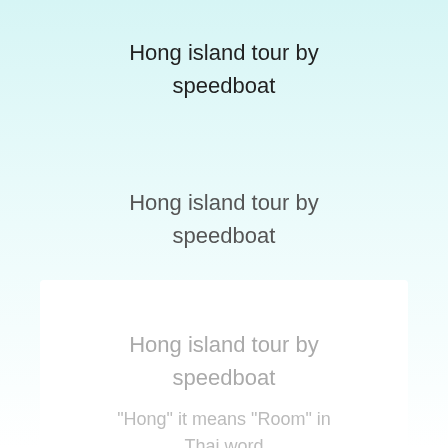Hong island tour by speedboat
Hong island tour by speedboat
Hong island tour by speedboat
"Hong" it means "Room" in Thai word